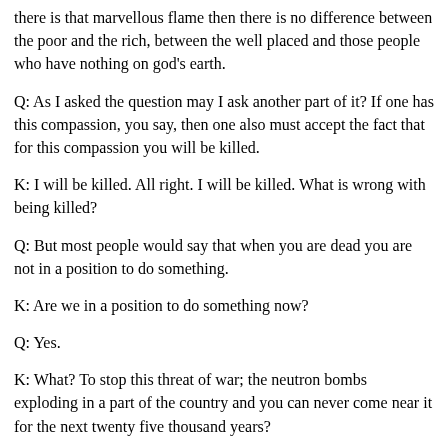there is that marvellous flame then there is no difference between the poor and the rich, between the well placed and those people who have nothing on god's earth.
Q: As I asked the question may I ask another part of it? If one has this compassion, you say, then one also must accept the fact that for this compassion you will be killed.
K: I will be killed. All right. I will be killed. What is wrong with being killed?
Q: But most people would say that when you are dead you are not in a position to do something.
K: Are we in a position to do something now?
Q: Yes.
K: What? To stop this threat of war; the neutron bombs exploding in a part of the country and you can never come near it for the next twenty five thousand years?
Q: The peace groups, and people who have this compassion appear to be the first victims to be wiped out.